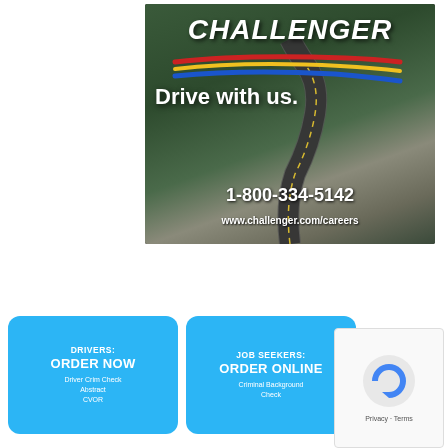[Figure (photo): Challenger Motor Freight advertisement showing an aerial road winding through forested mountains. White bold italic CHALLENGER logo at top with red, yellow, and blue swoosh stripes. Text reads 'Drive with us.' Large white text shows phone number '1-800-334-5142' and website 'www.challenger.com/careers' at bottom.]
[Figure (infographic): Two blue rounded rectangle buttons side by side. Left button: 'DRIVERS: ORDER NOW' with sub-text 'Driver Crim Check, Abstract, CVOR'. Right button: 'JOB SEEKERS: ORDER ONLINE' with sub-text 'Criminal Background Check'. Partial circular tire/logo visible to the right. reCAPTCHA widget visible far right.]